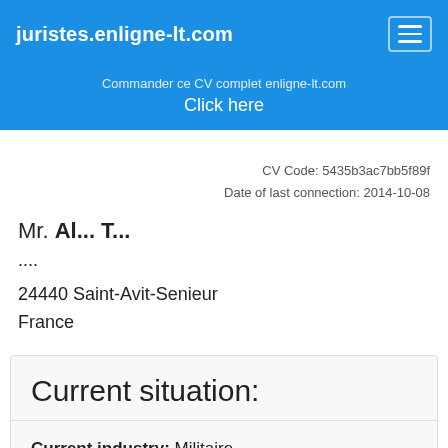juristes.enligne-lt.com
Commander ce CV complet enligne-lt.com
Click here
CV Code: 5435b3ac7bb5f89f
Date of last connection: 2014-10-08
Mr. Al... T...
....
24440 Saint-Avit-Senieur
France
Current situation:
Current industry: Militaire